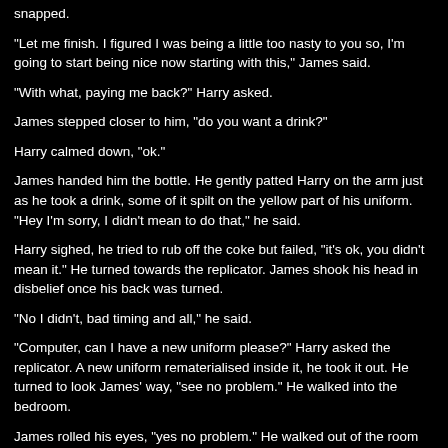snapped.
"Let me finish. I figured I was being a little too nasty to you so, I'm going to start being nice now starting with this," James said.
"With what, paying me back?" Harry asked.
James stepped closer to him, "do you want a drink?"
Harry calmed down, "ok."
James handed him the bottle. He gently patted Harry on the arm just as he took a drink, some of it spilt on the yellow part of his uniform. "Hey I'm sorry, I didn't mean to do that," he said.
Harry sighed, he tried to rub off the coke but failed, "it's ok, you didn't mean it." He turned towards the replicator. James shook his head in disbelief once his back was turned.
"No I didn't, bad timing and all," he said.
"Computer, can I have a new uniform please?" Harry asked the replicator. A new uniform rematerialised inside it, he took it out. He turned to look James' way, "see no problem." He walked into the bedroom.
James rolled his eyes, "yes no problem." He walked out of the room shaking his head.
In: "Torres to Kim, can you report to Holodeck 2?"